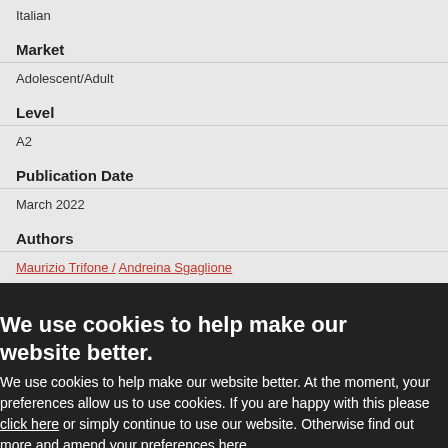Italian
Market
Adolescent/Adult
Level
A2
Publication Date
March 2022
Authors
Maurizio Trifone / Andreina Sgaglione
We use cookies to help make our website better.
We use cookies to help make our website better. At the moment, your preferences allow us to use cookies. If you are happy with this please click here or simply continue to use our website. Otherwise find out more and amend your preferences here.